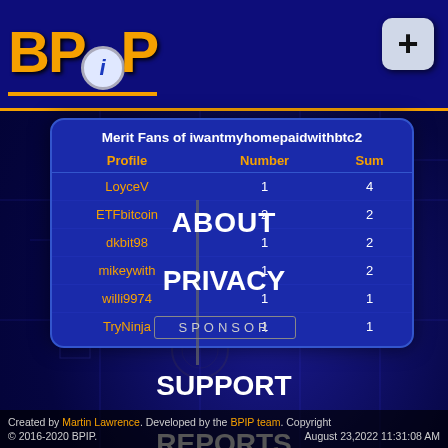[Figure (logo): BPIP logo with orange text and info icon, on dark blue header with orange underline]
| Profile | Number | Sum |
| --- | --- | --- |
| LoyceV | 1 | 4 |
| ETFbitcoin | 2 | 2 |
| dkbit98 | 1 | 2 |
| mikeywith | 1 | 2 |
| willi9974 | 1 | 1 |
| TryNinja | 1 | 1 |
ABOUT
PRIVACY
SPONSOR
SUPPORT
REPORTS
Created by Martin Lawrence. Developed by the BPIP team. Copyright © 2016-2020 BPIP.   August 23,2022 11:31:08 AM